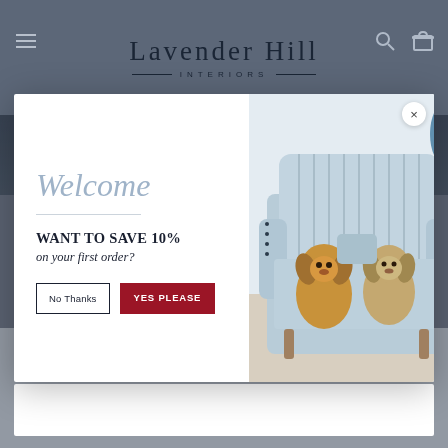Lavender Hill INTERIORS
[Figure (screenshot): Website popup modal with Welcome message, WANT TO SAVE 10% on your first order text, No Thanks and YES PLEASE buttons on left, photo of two dogs sitting on a blue striped armchair on right. Background shows interior design website with Read more button.]